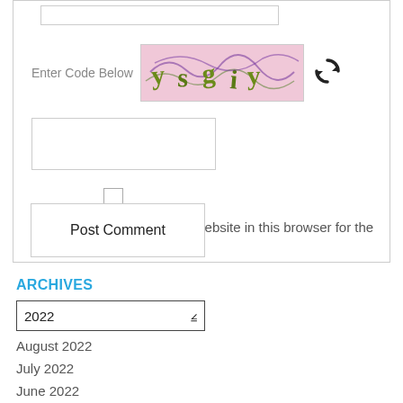[Figure (screenshot): CAPTCHA image with text 'ysgiy' on pink background with decorative vines]
Enter Code Below
Save my name, email, and website in this browser for the next time I comment.
Post Comment
ARCHIVES
2022
August 2022
July 2022
June 2022